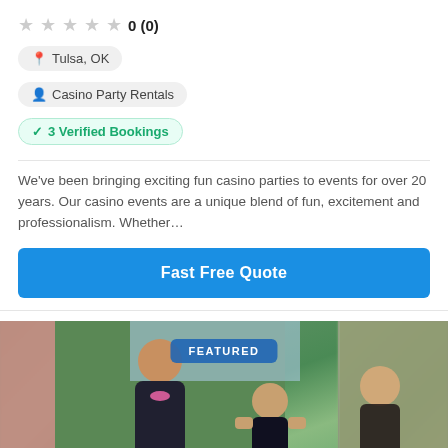0 (0)
Tulsa, OK
Casino Party Rentals
✓ 3 Verified Bookings
We've been bringing exciting fun casino parties to events for over 20 years. Our casino events are a unique blend of fun, excitement and professionalism. Whether...
Fast Free Quote
[Figure (photo): Photo of people at a casino party event outdoors with palm trees in the background. A FEATURED badge is overlaid on the image.]